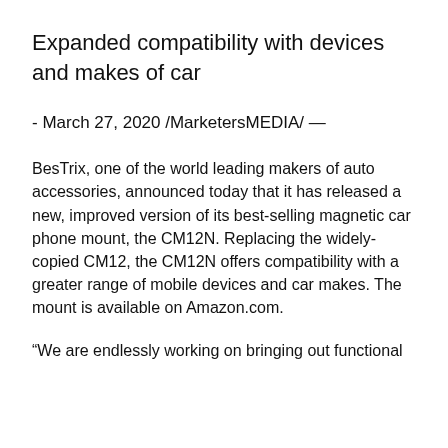Expanded compatibility with devices and makes of car
- March 27, 2020 /MarketersMEDIA/ —
BesTrix, one of the world leading makers of auto accessories, announced today that it has released a new, improved version of its best-selling magnetic car phone mount, the CM12N. Replacing the widely-copied CM12, the CM12N offers compatibility with a greater range of mobile devices and car makes. The mount is available on Amazon.com.
“We are endlessly working on bringing out functional and intelligent accessories that will enhance your…